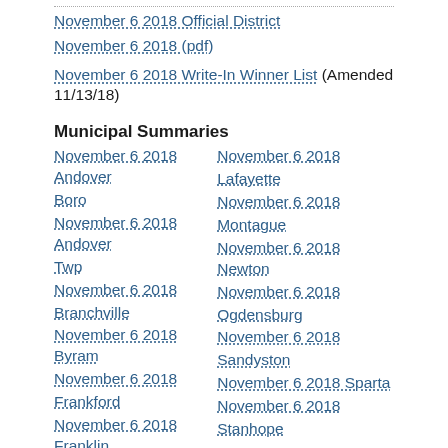November 6 2018 Official District
November 6 2018 (pdf)
November 6 2018 Write-In Winner List (Amended 11/13/18)
Municipal Summaries
November 6 2018 Andover
November 6 2018 Lafayette
November 6 2018 Boro
November 6 2018 Andover
November 6 2018 Montague
November 6 2018 Twp
November 6 2018
November 6 2018 Newton
November 6 2018 Branchville
November 6 2018
November 6 2018 Byram
November 6 2018 Ogdensburg
November 6 2018
November 6 2018
November 6 2018 Frankford
November 6 2018 Sandyston
November 6 2018 Franklin
November 6 2018 Sparta
November 6 2018 Fredon
November 6 2018
November 6 2018 Green
Stanhope